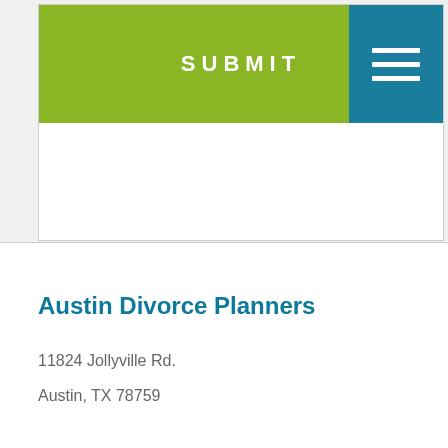[Figure (screenshot): Website navigation bar with green background showing 'SUBMIT' text in white bold uppercase letters and a teal hamburger menu icon button on the right side]
Austin Divorce Planners
11824 Jollyville Rd.
Austin, TX 78759